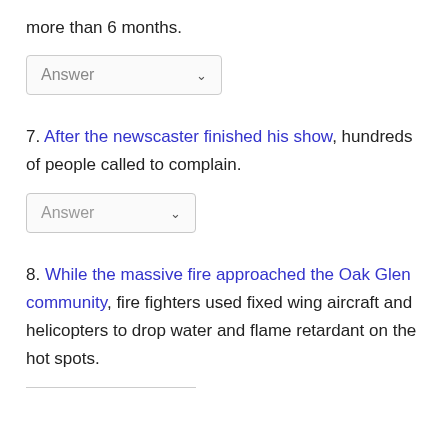more than 6 months.
[Figure (other): Answer dropdown selector (first, wide)]
7. After the newscaster finished his show, hundreds of people called to complain.
[Figure (other): Answer dropdown selector (second, narrow)]
8. While the massive fire approached the Oak Glen community, fire fighters used fixed wing aircraft and helicopters to drop water and flame retardant on the hot spots.
[Figure (other): Answer dropdown selector (third, partial, cut off at bottom)]